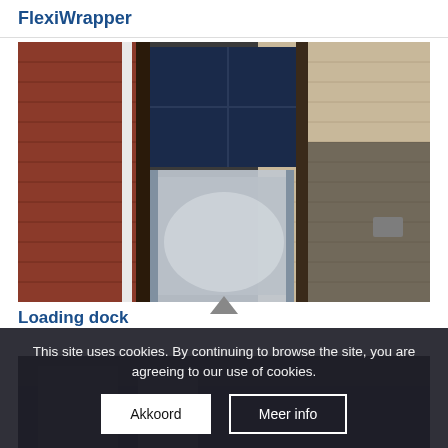FlexiWrapper
[Figure (photo): Outdoor photo of a loading dock or elevator structure with glass/transparent panels attached to a brick building facade. Metal frame structure visible against beige brick wall. Dark sky visible through upper glass panel.]
Loading dock
This site uses cookies. By continuing to browse the site, you are agreeing to our use of cookies.
[Figure (photo): Partial view of a dark loading dock area, bottom portion of page.]